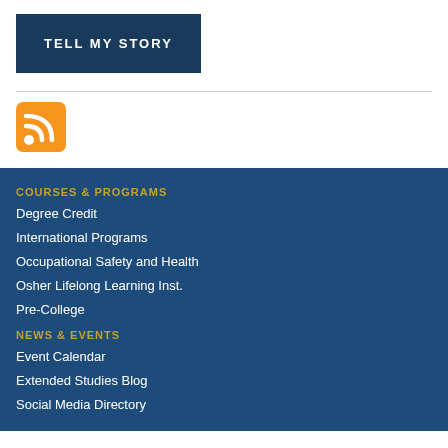TELL MY STORY
[Figure (logo): RSS feed icon — orange square with white RSS symbol]
COURSES & PROGRAMS
Degree Credit
International Programs
Occupational Safety and Health
Osher Lifelong Learning Inst.
Pre-College
NEWS & EVENTS
Event Calendar
Extended Studies Blog
Social Media Directory